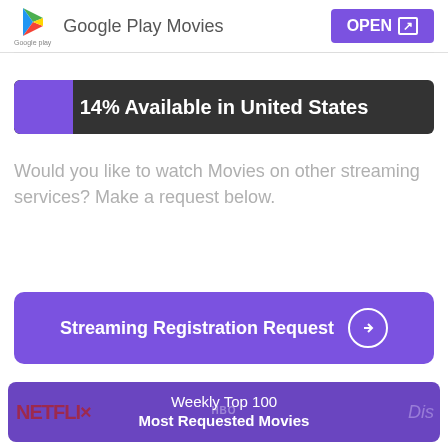[Figure (screenshot): Google Play Movies app entry with logo, name, and OPEN button]
[Figure (infographic): 14% Available in United States progress bar with dark background and purple fill]
Would you like to watch Movies on other streaming services? Make a request below.
[Figure (screenshot): Streaming Registration Request button with arrow icon]
[Figure (screenshot): Weekly Top 100 Most Requested Movies banner with Netflix, HBO, and Disney logos in background]